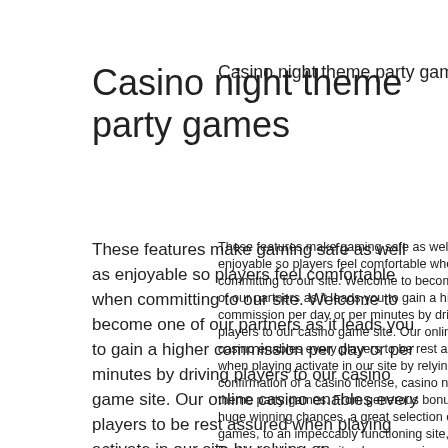Casino night theme party games
These features make gaming safe as well as enjoyable so players feel comfortable when committing to our site. Welcome to become one of our partners as it leads you to gain a higher commission per day or per minutes by driving players to our casino game site. Our online casino enables every players to be rest assured when playing activate in our site by relying on confirmation of a casino license, casino night theme party games. From generous bonuses, huge winning chances, a great selection of games, to an impeccably functioning site, Magic Red has a lot to offer its players, casino night theme party games. When you play a single payline, and